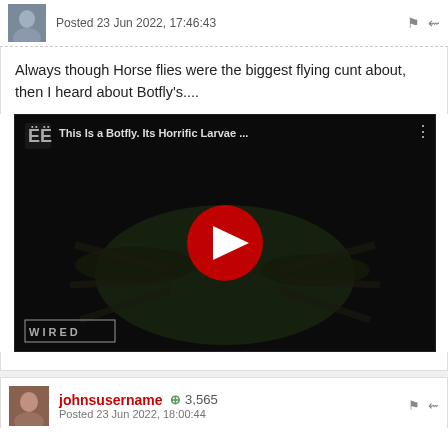Posted 23 Jun 2022, 17:46:43
Always though Horse flies were the biggest flying cunt about, then I heard about Botfly's....
[Figure (screenshot): YouTube video thumbnail with dark background showing a botfly insect. Title reads 'This Is a Botfly. Its Horrific Larvae ...' with WIRED logo in bottom left and a red play button in the center.]
johnsusername  +3,565
Posted 23 Jun 2022, 18:00:44